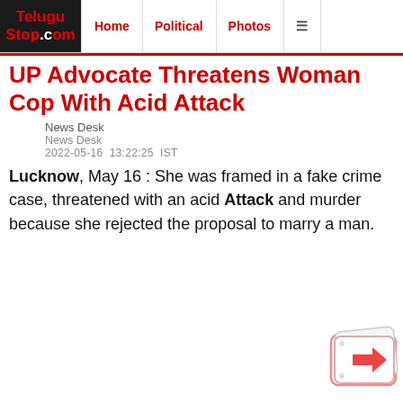TeluguStop.com | Home | Political | Photos
UP Advocate Threatens Woman Cop With Acid Attack
News Desk
News Desk
2022-05-16  13:22:25  IST
Lucknow, May 16 : She was framed in a fake crime case, threatened with an acid Attack and murder because she rejected the proposal to marry a man.